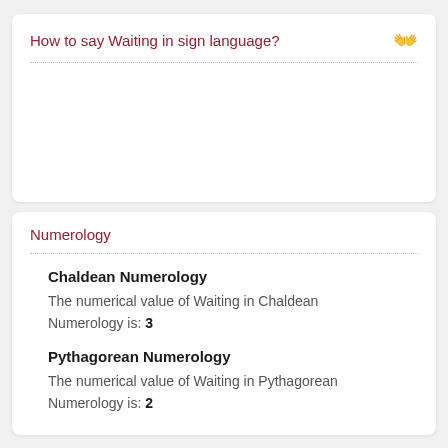How to say Waiting in sign language?
Numerology
Chaldean Numerology
The numerical value of Waiting in Chaldean Numerology is: 3
Pythagorean Numerology
The numerical value of Waiting in Pythagorean Numerology is: 2